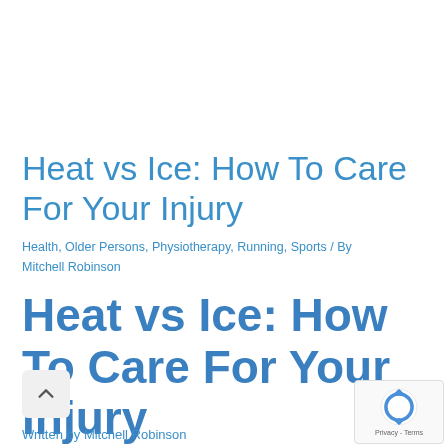Heat vs Ice: How To Care For Your Injury
Health, Older Persons, Physiotherapy, Running, Sports / By Mitchell Robinson
Heat vs Ice: How To Care For Your Injury
Written by Mitchell Robinson